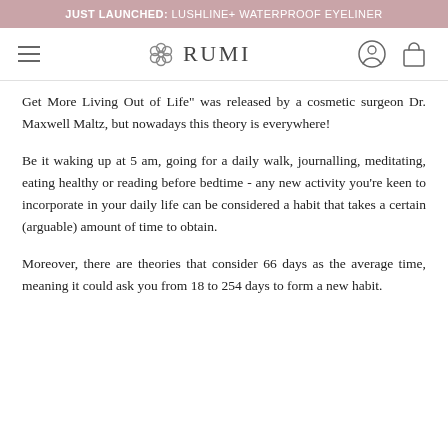JUST LAUNCHED: LUSHLINE+ WATERPROOF EYELINER
[Figure (logo): Rumi brand logo with hamburger menu, flower icon with RUMI text, user icon, and shopping bag icon]
Get More Living Out of Life" was released by a cosmetic surgeon Dr. Maxwell Maltz, but nowadays this theory is everywhere!
Be it waking up at 5 am, going for a daily walk, journalling, meditating, eating healthy or reading before bedtime - any new activity you’re keen to incorporate in your daily life can be considered a habit that takes a certain (arguable) amount of time to obtain.
Moreover, there are theories that consider 66 days as the average time, meaning it could ask you from 18 to 254 days to form a new habit.